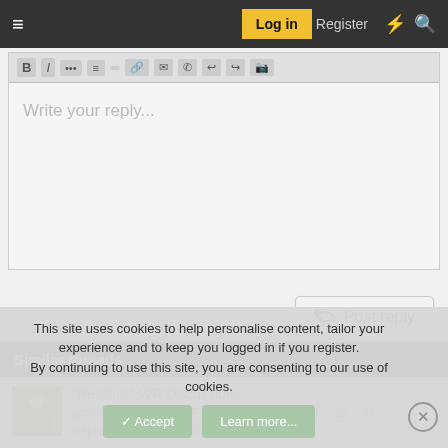≡  Log in  Register
[Figure (screenshot): Forum text editor toolbar with formatting icons and 'Write your reply...' placeholder text area]
Post reply
Similar threads
[Figure (photo): Forum user avatar thumbnail showing a football player]
"Realistic" WR Discussions...
tynimiller · Green Bay Packers Fan Forum   24  25  26
Replies: 630 · Dec 25, 2019
This site uses cookies to help personalise content, tailor your experience and to keep you logged in if you register.
By continuing to use this site, you are consenting to our use of cookies.
✓ Accept   Learn more...